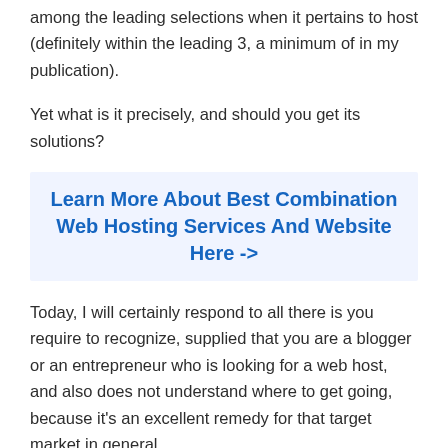among the leading selections when it pertains to host (definitely within the leading 3, a minimum of in my publication).
Yet what is it precisely, and should you get its solutions?
Learn More About Best Combination Web Hosting Services And Website Here ->
Today, I will certainly respond to all there is you require to recognize, supplied that you are a blogger or an entrepreneur who is looking for a web host, and also does not understand where to get going, because it's an excellent remedy for that target market in general.
Allow's picture, you want to organize your sites and make them noticeable. Okay?